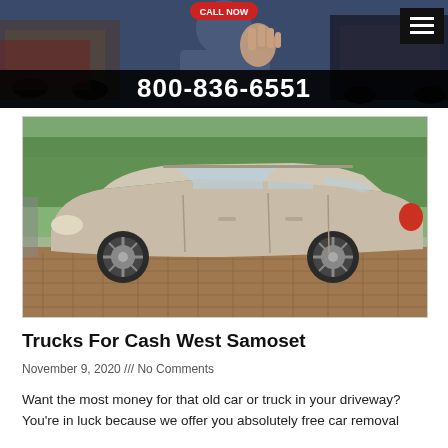[Figure (photo): Website header banner showing a man with raised hand against backdrop of damaged cars, with phone number 800-836-6551 on dark bar at bottom, and hamburger menu icon top right]
[Figure (photo): Silver/champagne Volvo V60 wagon parked on brick driveway with trees in background]
Trucks For Cash West Samoset
November 9, 2020 /// No Comments
Want the most money for that old car or truck in your driveway? You're in luck because we offer you absolutely free car removal